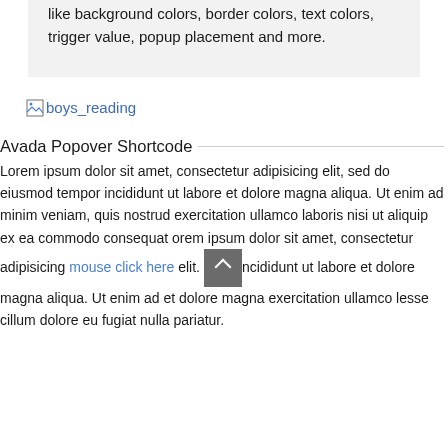like background colors, border colors, text colors, trigger value, popup placement and more.
[Figure (illustration): Broken image placeholder icon followed by link text 'boys_reading']
Avada Popover Shortcode
Lorem ipsum dolor sit amet, consectetur adipisicing elit, sed do eiusmod tempor incididunt ut labore et dolore magna aliqua. Ut enim ad minim veniam, quis nostrud exercitation ullamco laboris nisi ut aliquip ex ea commodo consequat orem ipsum dolor sit amet, consectetur adipisicing mouse click here elit. Incididunt ut labore et dolore magna aliqua. Ut enim ad et dolore magna exercitation ullamco lesse cillum dolore eu fugiat nulla pariatur.